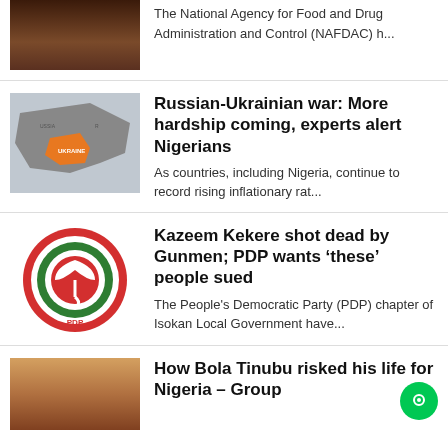[Figure (photo): Partial news thumbnail - person, partially cropped at top]
The National Agency for Food and Drug Administration and Control (NAFDAC) h...
[Figure (photo): Map showing Russia and Ukraine, orange and grey colors]
Russian-Ukrainian war: More hardship coming, experts alert Nigerians
As countries, including Nigeria, continue to record rising inflationary rat...
[Figure (logo): PDP (People's Democratic Party) logo - circular red and green emblem with umbrella]
Kazeem Kekere shot dead by Gunmen; PDP wants ‘these’ people sued
The People's Democratic Party (PDP) chapter of Isokan Local Government have...
[Figure (photo): Bola Tinubu portrait photo, partial at bottom]
How Bola Tinubu risked his life for Nigeria – Group